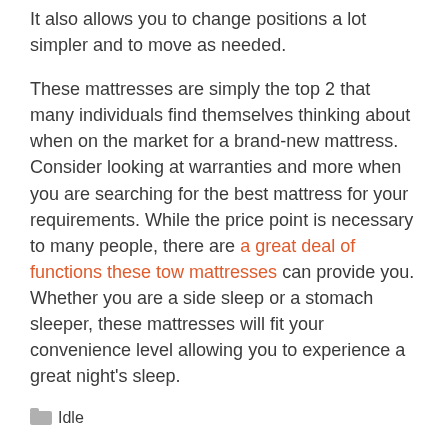It also allows you to change positions a lot simpler and to move as needed.
These mattresses are simply the top 2 that many individuals find themselves thinking about when on the market for a brand-new mattress. Consider looking at warranties and more when you are searching for the best mattress for your requirements. While the price point is necessary to many people, there are a great deal of functions these tow mattresses can provide you. Whether you are a side sleep or a stomach sleeper, these mattresses will fit your convenience level allowing you to experience a great night's sleep.
Idle